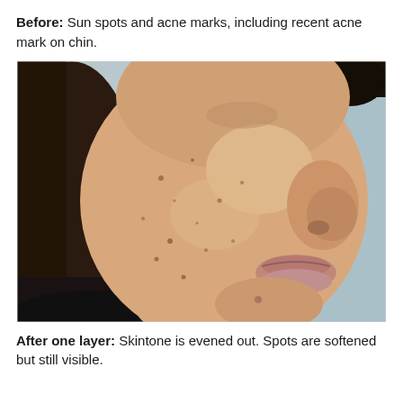Before: Sun spots and acne marks, including recent acne mark on chin.
[Figure (photo): Close-up three-quarter view of a woman's face showing skin with sun spots and acne marks, including a visible acne mark on the chin. The skin has small dark spots scattered across the cheek and chin area. Hair is dark and pulled back. Background is light blue/grey.]
After one layer: Skintone is evened out. Spots are softened but still visible.